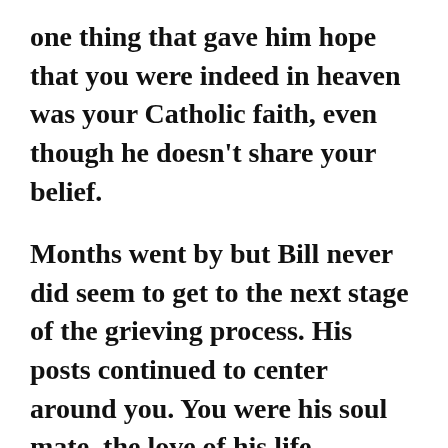one thing that gave him hope that you were indeed in heaven was your Catholic faith, even though he doesn't share your belief.
Months went by but Bill never did seem to get to the next stage of the grieving process. His posts continued to center around you. You were his soul mate, the love of his life.
I was thinking what you would want for your birthday if you could have anything? So I asked myself: What was